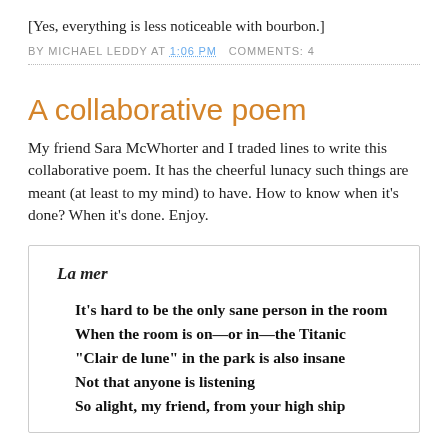[Yes, everything is less noticeable with bourbon.]
BY MICHAEL LEDDY AT 1:06 PM   COMMENTS: 4
A collaborative poem
My friend Sara McWhorter and I traded lines to write this collaborative poem. It has the cheerful lunacy such things are meant (at least to my mind) to have. How to know when it's done? When it's done. Enjoy.
La mer

It's hard to be the only sane person in the room
When the room is on—or in—the Titanic
“Clair de lune” in the park is also insane
Not that anyone is listening
So alight, my friend, from your high ship